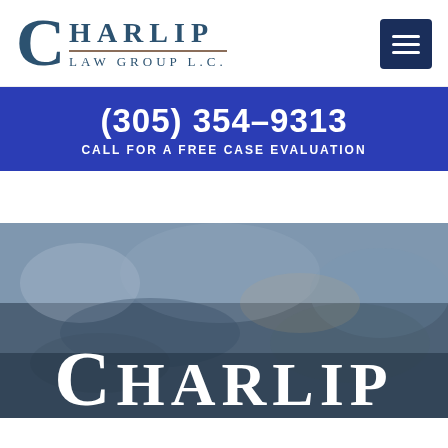[Figure (logo): Charlip Law Group LC logo with large serif C and text, dark teal color]
[Figure (other): Dark navy hamburger menu button with three horizontal white lines]
(305) 354-9313
CALL FOR A FREE CASE EVALUATION
[Figure (photo): Blurred outdoor background photo with 'CHARLIP' text overlaid in large white serif font at the bottom]